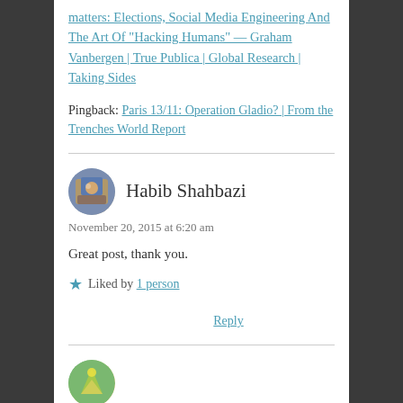matters: Elections, Social Media Engineering And The Art Of “Hacking Humans” — Graham Vanbergen | True Publica | Global Research | Taking Sides
Pingback: Paris 13/11: Operation Gladio? | From the Trenches World Report
Habib Shahbazi
November 20, 2015 at 6:20 am
Great post, thank you.
Liked by 1 person
Reply